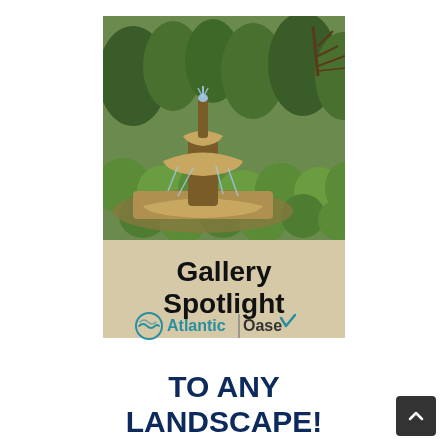[Figure (photo): A tiered garden fountain with water flowing, surrounded by lush round trimmed green shrubs and trees in the background]
Gallery Spotlight
[Figure (logo): Atlantic | Oase logo with circular wave icon and teal checkmark]
TO ANY LANDSCAPE!